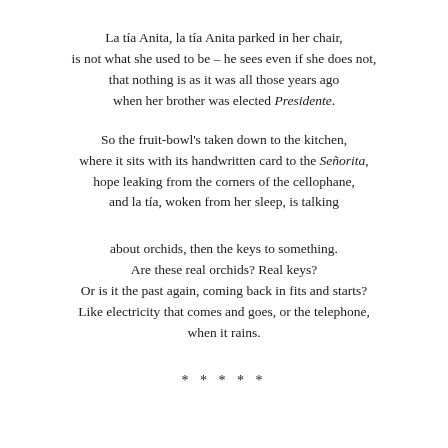La tía Anita, la tía Anita parked in her chair,
is not what she used to be – he sees even if she does not,
that nothing is as it was all those years ago
when her brother was elected Presidente.

So the fruit-bowl's taken down to the kitchen,
where it sits with its handwritten card to the Señorita,
hope leaking from the corners of the cellophane,
and la tía, woken from her sleep, is talking


about orchids, then the keys to something.
Are these real orchids? Real keys?
Or is it the past again, coming back in fits and starts?
Like electricity that comes and goes, or the telephone,
when it rains.

* * * * *